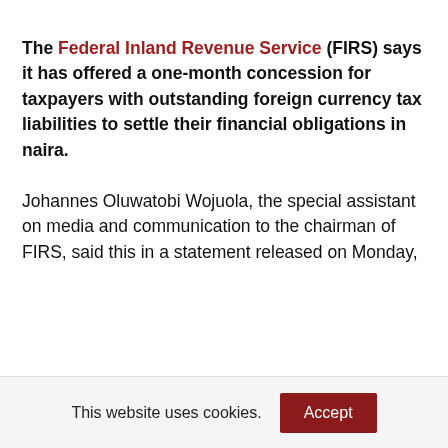The Federal Inland Revenue Service (FIRS) says it has offered a one-month concession for taxpayers with outstanding foreign currency tax liabilities to settle their financial obligations in naira.
Johannes Oluwatobi Wojuola, the special assistant on media and communication to the chairman of FIRS, said this in a statement released on Monday,
This website uses cookies.